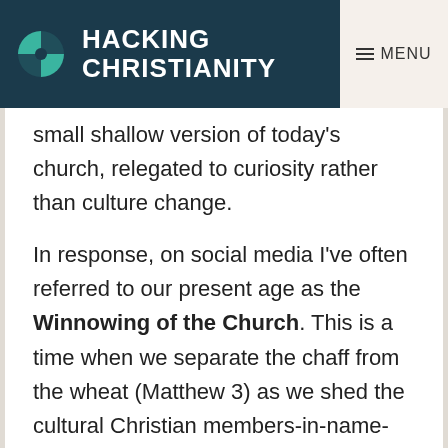HACKING CHRISTIANITY | MENU
small shallow version of today's church, relegated to curiosity rather than culture change.
In response, on social media I've often referred to our present age as the Winnowing of the Church. This is a time when we separate the chaff from the wheat (Matthew 3) as we shed the cultural Christian members-in-name-only and get a more realistic